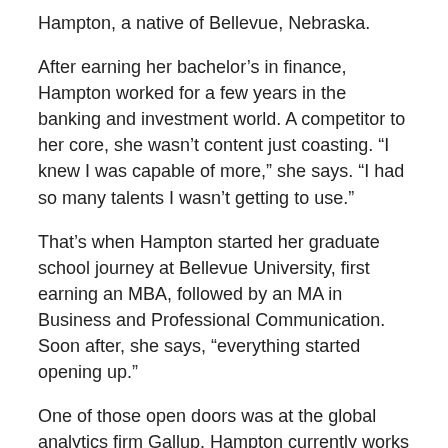Hampton, a native of Bellevue, Nebraska.
After earning her bachelor’s in finance, Hampton worked for a few years in the banking and investment world. A competitor to her core, she wasn’t content just coasting. “I knew I was capable of more,” she says. “I had so many talents I wasn’t getting to use.”
That’s when Hampton started her graduate school journey at Bellevue University, first earning an MBA, followed by an MA in Business and Professional Communication. Soon after, she says, “everything started opening up.”
One of those open doors was at the global analytics firm Gallup. Hampton currently works at the Riverfront Campus in Omaha as an implementation analyst.
She spends her workdays navigating spreadsheets, collaborating with clients, leading team meetings, and writing process documentation -- plus (her favorite part) burning off steam on Gallup’s basketball team.